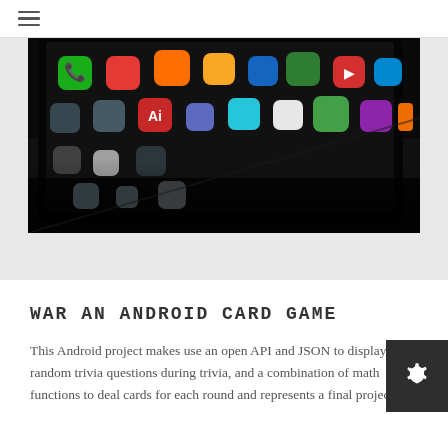≡
[Figure (photo): Close-up photo of an Android smartphone displaying colorful app icons on a dark home screen, placed on a dark surface]
WAR AN ANDROID CARD GAME
This Android project makes use an open API and JSON to display random trivia questions during trivia, and a combination of math functions to deal cards for each round and represents a final project.